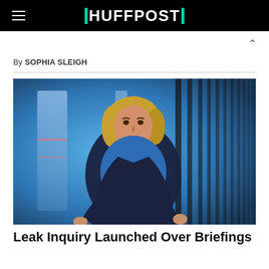HUFFPOST
By SOPHIA SLEIGH
[Figure (photo): A woman with blonde hair wearing a blue top and dark blazer speaks on a blue-lit stage, gesturing with both hands.]
Leak Inquiry Launched Over Briefings